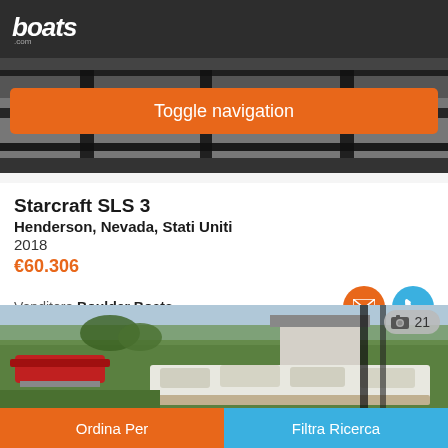boats.com
Toggle navigation
[Figure (photo): Dark metal boat rack or trailer structure, overhead view]
Starcraft SLS 3
Henderson, Nevada, Stati Uniti
2018
€60.306
Venditore Boulder Boats
[Figure (photo): Pontoon boat with white seating in a marina/yard setting with other boats and green landscape, photo count badge showing 21]
Ordina Per
Filtra Ricerca